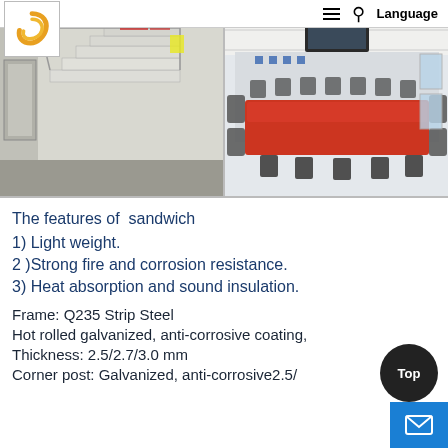≡  🔍  Language
[Figure (photo): Two side-by-side photos of a modular/container building interior: left shows a staircase in a grey corridor, right shows a conference room with a long red table and office chairs]
The features of  sandwich
1) Light weight.
2 )Strong fire and corrosion resistance.
3) Heat absorption and sound insulation.
Frame: Q235 Strip Steel
Hot rolled galvanized, anti-corrosive coating,
Thickness: 2.5/2.7/3.0 mm
Corner post: Galvanized, anti-corrosive2.5/